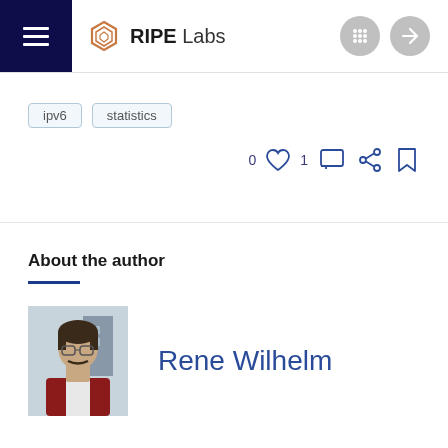RIPE Labs
ipv6
statistics
0 [heart] 1 [comment] [share] [bookmark]
About the author
[Figure (photo): Portrait photo of Rene Wilhelm, a man with dark hair, glasses and a moustache, wearing a red and white jacket]
Rene Wilhelm